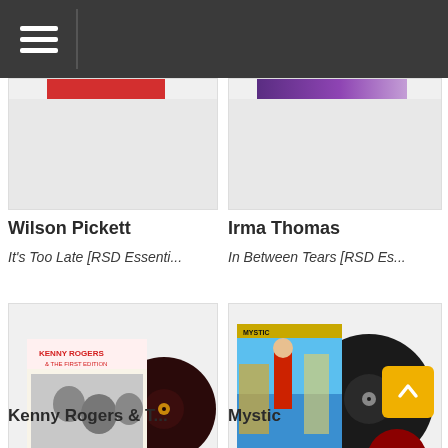Navigation menu
[Figure (photo): Partial album cover for Wilson Pickett with red bar at top, gray background]
[Figure (photo): Partial album cover for Irma Thomas with purple/gradient bar at top, gray background]
Wilson Pickett
It's Too Late [RSD Essenti...
Irma Thomas
In Between Tears [RSD Es...
[Figure (photo): Kenny Rogers & The First Edition album with dark maroon/burgundy vinyl record, black and white photo of band members on white background]
[Figure (photo): Mystic album with colorful scene showing a person in red coat, black vinyl LP and small red vinyl 7-inch record]
Kenny Rogers & T...
Mystic